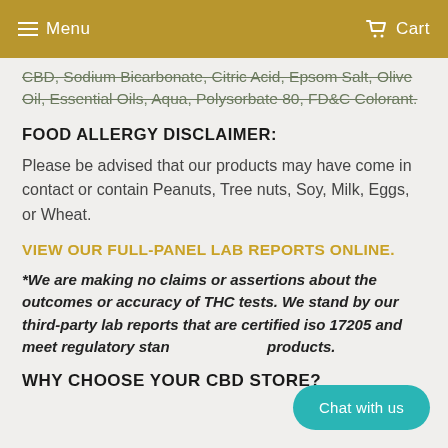Menu  Cart
CBD, Sodium Bicarbonate, Citric Acid, Epsom Salt, Olive Oil, Essential Oils, Aqua, Polysorbate 80, FD&C Colorant.
FOOD ALLERGY DISCLAIMER:
Please be advised that our products may have come in contact or contain Peanuts, Tree nuts, Soy, Milk, Eggs, or Wheat.
VIEW OUR FULL-PANEL LAB REPORTS ONLINE.
*We are making no claims or assertions about the outcomes or accuracy of THC tests. We stand by our third-party lab reports that are certified iso 17205 and meet regulatory standards for our products.
WHY CHOOSE YOUR CBD STORE?